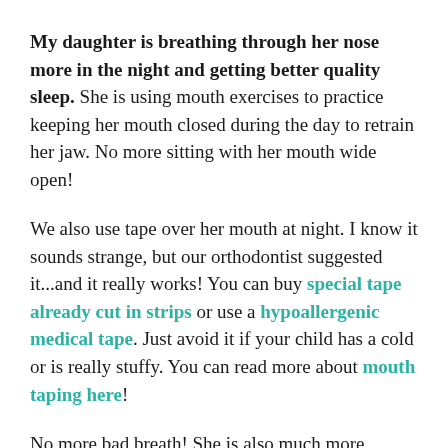My daughter is breathing through her nose more in the night and getting better quality sleep. She is using mouth exercises to practice keeping her mouth closed during the day to retrain her jaw. No more sitting with her mouth wide open!
We also use tape over her mouth at night. I know it sounds strange, but our orthodontist suggested it...and it really works! You can buy special tape already cut in strips or use a hypoallergenic medical tape. Just avoid it if your child has a cold or is really stuffy. You can read more about mouth taping here!
No more bad breath! She is also much more